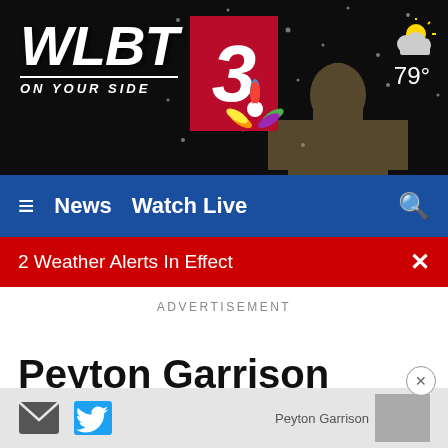[Figure (screenshot): WLBT 3 NBC news station website header with dark background showing capitol building silhouette, WLBT 3 ON YOUR SIDE logo, NBC peacock, partly cloudy weather icon, and 79° temperature]
≡  News  Watch Live  🔍
2 Weather Alerts In Effect  ×
ADVERTISEMENT
Peyton Garrison
METEOROLOGIST
Jackson, MS
[Figure (photo): Peyton Garrison profile photo thumbnail (partially visible)]